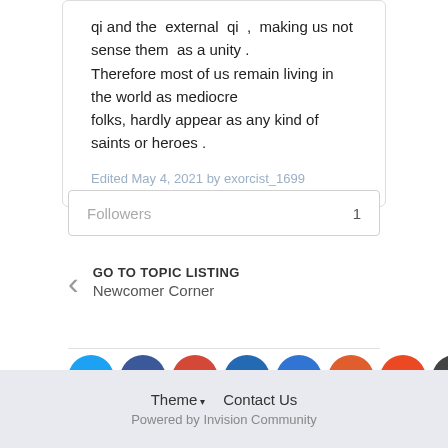qi and the external qi , making us not sense them as a unity . Therefore most of us remain living in the world as mediocre folks, hardly appear as any kind of saints or heroes .
Edited May 4, 2021 by exorcist_1699
Followers  1
GO TO TOPIC LISTING
Newcomer Corner
[Figure (infographic): Row of social sharing icons: Twitter (blue), Facebook (dark blue), Google+ (red-orange), Digg (blue), Delicious (blue), Reddit (orange), StumbleUpon (orange-red), Email (dark grey), Pinterest (dark red)]
Theme ▾   Contact Us
Powered by Invision Community